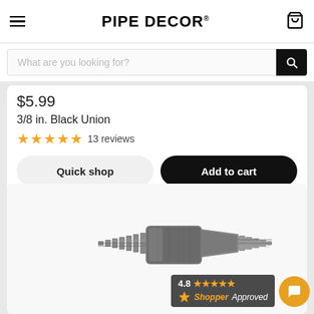PIPE DECOR
What are you looking for?
$5.99
3/8 in. Black Union
★★★★★ 13 reviews
Quick shop
Add to cart
[Figure (photo): Close-up photo of a threaded pipe fitting (black iron pipe union) showing threaded ends and metal surface texture]
4.8 ★★★★★ ShopperApproved